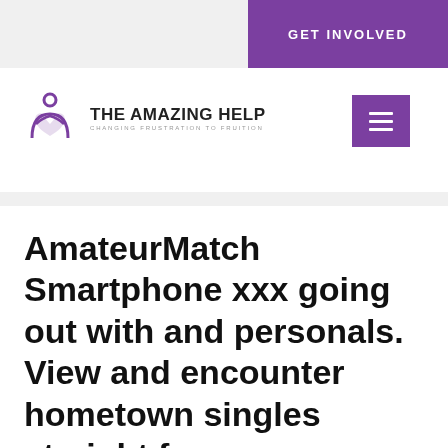GET INVOLVED
[Figure (logo): The Amazing Help logo — purple heart/person icon with text 'THE AMAZING HELP' and subtitle 'CHANGING FRUSTRATION TO FRUITION']
AmateurMatch Smartphone xxx going out with and personals. View and encounter hometown singles straight from your cellphone
Leave a Comment / Equestrian Dating review / By amazing